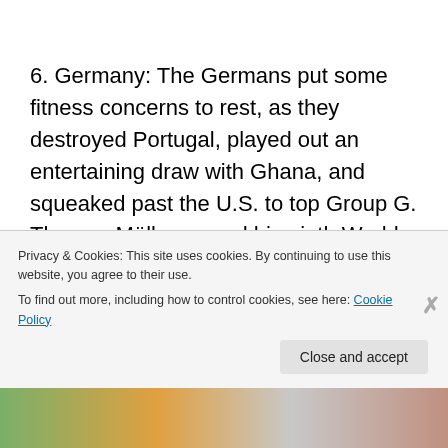6. Germany: The Germans put some fitness concerns to rest, as they destroyed Portugal, played out an entertaining draw with Ghana, and squeaked past the U.S. to top Group G. Thomas Müller scored his ninth World Cup goal in that final game and could win the Golden Boot.
7. Brazil: The hosts haven't been terribly impressive as a...
Privacy & Cookies: This site uses cookies. By continuing to use this website, you agree to their use.
To find out more, including how to control cookies, see here: Cookie Policy